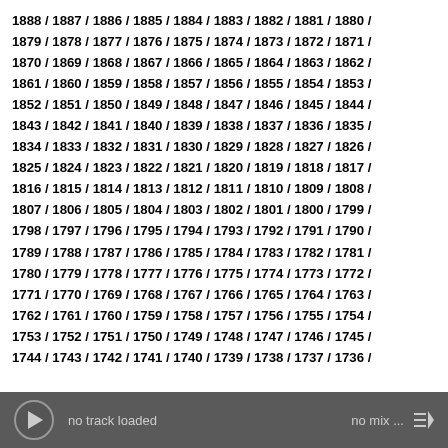1888 / 1887 / 1886 / 1885 / 1884 / 1883 / 1882 / 1881 / 1880 / 1879 / 1878 / 1877 / 1876 / 1875 / 1874 / 1873 / 1872 / 1871 / 1870 / 1869 / 1868 / 1867 / 1866 / 1865 / 1864 / 1863 / 1862 / 1861 / 1860 / 1859 / 1858 / 1857 / 1856 / 1855 / 1854 / 1853 / 1852 / 1851 / 1850 / 1849 / 1848 / 1847 / 1846 / 1845 / 1844 / 1843 / 1842 / 1841 / 1840 / 1839 / 1838 / 1837 / 1836 / 1835 / 1834 / 1833 / 1832 / 1831 / 1830 / 1829 / 1828 / 1827 / 1826 / 1825 / 1824 / 1823 / 1822 / 1821 / 1820 / 1819 / 1818 / 1817 / 1816 / 1815 / 1814 / 1813 / 1812 / 1811 / 1810 / 1809 / 1808 / 1807 / 1806 / 1805 / 1804 / 1803 / 1802 / 1801 / 1800 / 1799 / 1798 / 1797 / 1796 / 1795 / 1794 / 1793 / 1792 / 1791 / 1790 / 1789 / 1788 / 1787 / 1786 / 1785 / 1784 / 1783 / 1782 / 1781 / 1780 / 1779 / 1778 / 1777 / 1776 / 1775 / 1774 / 1773 / 1772 / 1771 / 1770 / 1769 / 1768 / 1767 / 1766 / 1765 / 1764 / 1763 / 1762 / 1761 / 1760 / 1759 / 1758 / 1757 / 1756 / 1755 / 1754 / 1753 / 1752 / 1751 / 1750 / 1749 / 1748 / 1747 / 1746 / 1745 / 1744 / 1743 / 1742 / 1741 / 1740 / 1739 / 1738 / 1737 / 1736 /
no track loaded    no mix ...